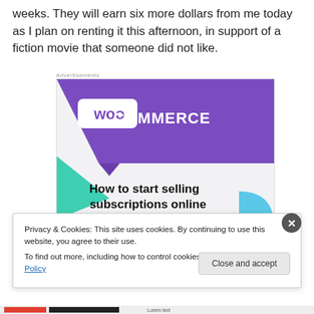weeks. They will earn six more dollars from me today as I plan on renting it this afternoon, in support of a fiction movie that someone did not like.
[Figure (screenshot): WooCommerce advertisement banner showing logo and text 'How to start selling subscriptions online' on a light grey background with purple and teal decorative shapes]
Privacy & Cookies: This site uses cookies. By continuing to use this website, you agree to their use.
To find out more, including how to control cookies, see here: Cookie Policy